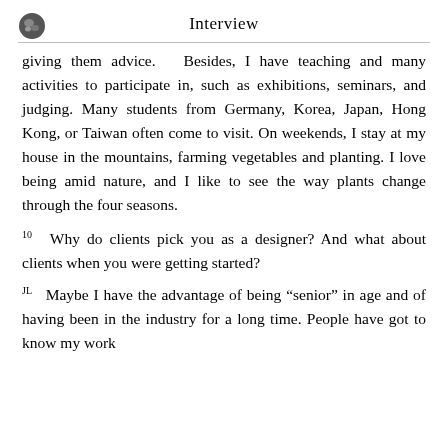Interview
giving them advice.   Besides, I have teaching and many activities to participate in, such as exhibitions, seminars, and judging. Many students from Germany, Korea, Japan, Hong Kong, or Taiwan often come to visit. On weekends, I stay at my house in the mountains, farming vegetables and planting. I love being amid nature, and I like to see the way plants change through the four seasons.
10   Why do clients pick you as a designer? And what about clients when you were getting started?
JL   Maybe I have the advantage of being “senior” in age and of having been in the industry for a long time. People have got to know my work